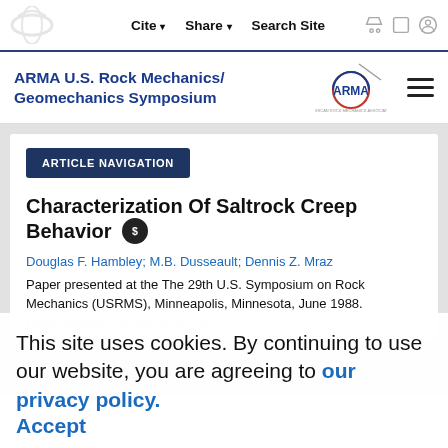Cite  Share  Search Site
ARMA U.S. Rock Mechanics/Geomechanics Symposium
ARTICLE NAVIGATION
Characterization Of Saltrock Creep Behavior
Douglas F. Hambley; M.B. Dusseault; Dennis Z. Mraz
Paper presented at the The 29th U.S. Symposium on Rock Mechanics (USRMS), Minneapolis, Minnesota, June 1988.
Paper Number: ARMA-88-0179
This site uses cookies. By continuing to use our website, you are agreeing to our privacy policy. Accept